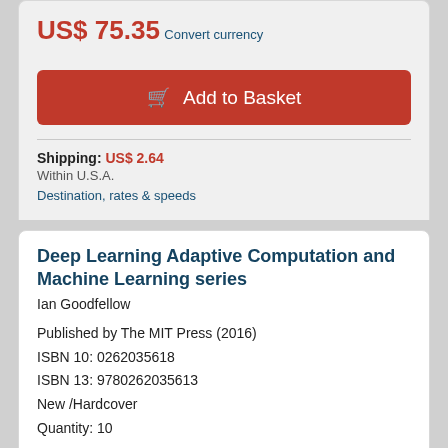US$ 75.35
Convert currency
Add to Basket
Shipping: US$ 2.64
Within U.S.A.
Destination, rates & speeds
Deep Learning Adaptive Computation and Machine Learning series
Ian Goodfellow
Published by The MIT Press (2016)
ISBN 10: 0262035618
ISBN 13: 9780262035613
New /Hardcover
Quantity: 10
Seller: Basi6 International